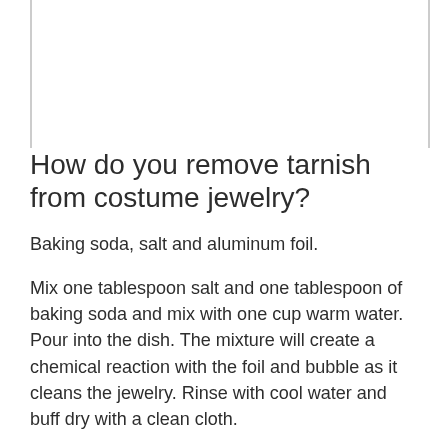How do you remove tarnish from costume jewelry?
Baking soda, salt and aluminum foil.
Mix one tablespoon salt and one tablespoon of baking soda and mix with one cup warm water. Pour into the dish. The mixture will create a chemical reaction with the foil and bubble as it cleans the jewelry. Rinse with cool water and buff dry with a clean cloth.